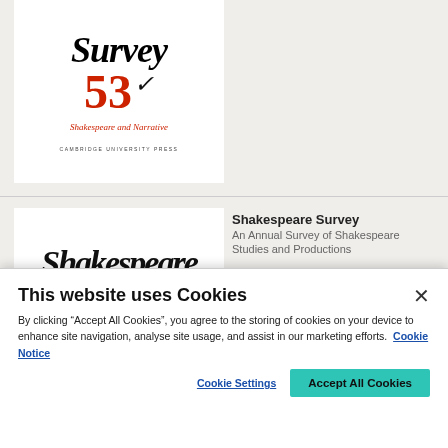[Figure (illustration): Book cover of Shakespeare Survey 53 showing stylized text 'Survey' in italic serif font, red number '53' with a decorative mark, subtitle 'Shakespeare and Narrative' in red italic, and 'CAMBRIDGE UNIVERSITY PRESS' at the bottom.]
[Figure (illustration): Partial book cover showing 'Shakespeare' in large cursive/italic script font.]
Shakespeare Survey
An Annual Survey of Shakespeare Studies and Productions
This website uses Cookies
By clicking “Accept All Cookies”, you agree to the storing of cookies on your device to enhance site navigation, analyse site usage, and assist in our marketing efforts.
Cookie Notice
Cookie Settings
Accept All Cookies